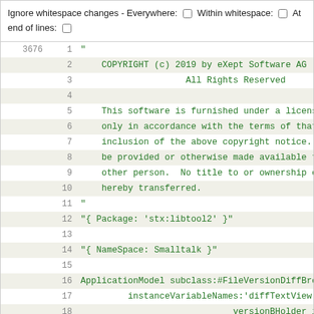Ignore whitespace changes - Everywhere: □ Within whitespace: □ At end of lines: □
[Figure (screenshot): Code diff viewer showing lines 1-19 of a Smalltalk source file with copyright notice and class definition. Lines are numbered with alternating row shading. Code is shown in green monospace font.]